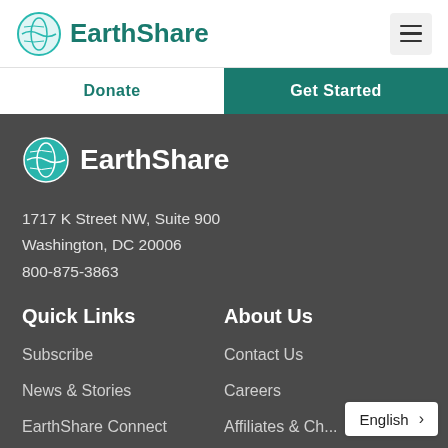EarthShare — navigation header with logo and hamburger menu
Donate
Get Started
[Figure (logo): EarthShare globe logo and wordmark in white on dark background]
1717 K Street NW, Suite 900
Washington, DC 20006
800-875-3863
Quick Links
About Us
Subscribe
Contact Us
News & Stories
Careers
EarthShare Connect
Affiliates & Ch...
English >